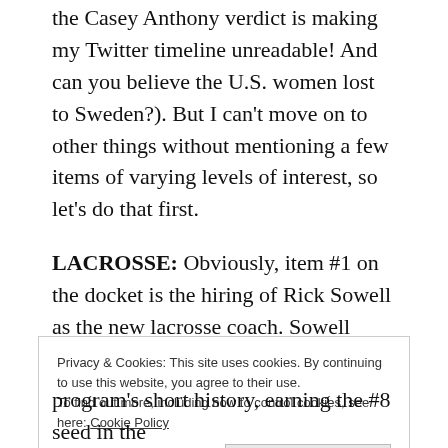the Casey Anthony verdict is making my Twitter timeline unreadable! And can you believe the U.S. women lost to Sweden?). But I can't move on to other things without mentioning a few items of varying levels of interest, so let's do that first.
LACROSSE: Obviously, item #1 on the docket is the hiring of Rick Sowell as the new lacrosse coach. Sowell comes to Navy by way of Stony Brook, where he went 47-26 over five seasons. The Seawolves won the
Privacy & Cookies: This site uses cookies. By continuing to use this website, you agree to their use.
To find out more, including how to control cookies, see here: Cookie Policy
Close and accept
program's short history, earning the #8 seed in the